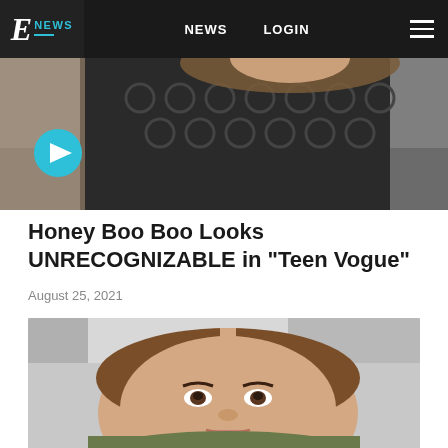E! NEWS | NEWS | LOGIN
[Figure (photo): Partial view of a woman wearing a black lace/crochet top with wavy hair, with a teal play button overlay in the lower left]
Honey Boo Boo Looks UNRECOGNIZABLE in "Teen Vogue"
August 25, 2021
[Figure (photo): Close-up photo of a teenage girl with brown shoulder-length hair, wearing a green camouflage top, seated in what appears to be an indoor setting]